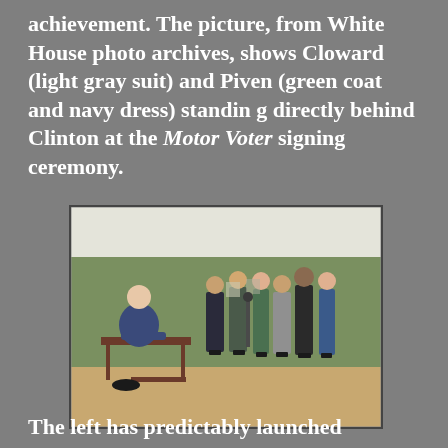achievement. The picture, from White House photo archives, shows Cloward (light gray suit) and Piven (green coat and navy dress) standin g directly behind Clinton at the Motor Voter signing ceremony.
[Figure (photo): Black and white photograph showing a signing ceremony outdoors under a tent. A man (Clinton) is seated at a small desk signing a document, while a group of approximately 12 people stand behind him watching.]
The left has predictably launched